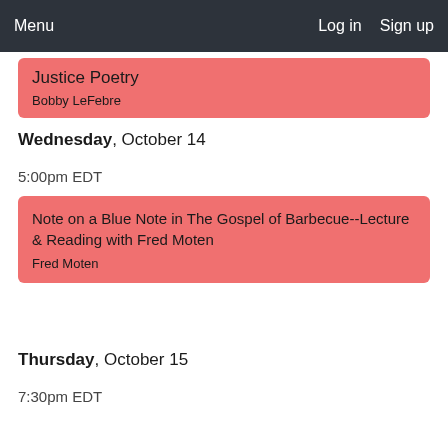Menu   Log in   Sign up
Justice Poetry
Bobby LeFebre
Wednesday, October 14
5:00pm EDT
Note on a Blue Note in The Gospel of Barbecue--Lecture & Reading with Fred Moten
Fred Moten
Thursday, October 15
7:30pm EDT